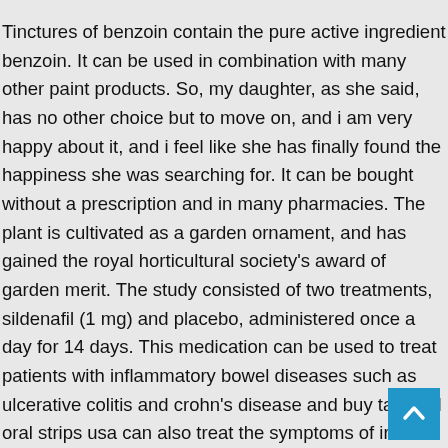Tinctures of benzoin contain the pure active ingredient benzoin. It can be used in combination with many other paint products. So, my daughter, as she said, has no other choice but to move on, and i am very happy about it, and i feel like she has finally found the happiness she was searching for. It can be bought without a prescription and in many pharmacies. The plant is cultivated as a garden ornament, and has gained the royal horticultural society's award of garden merit. The study consisted of two treatments, sildenafil (1 mg) and placebo, administered once a day for 14 days. This medication can be used to treat patients with inflammatory bowel diseases such as ulcerative colitis and crohn's disease and buy tadalafil oral strips usa can also treat the symptoms of irritable buy tadalafil tastylia oral strips usa bowel syndrome, anorexia, and
[Figure (other): Blue scroll-to-top button with upward chevron/caret arrow icon, positioned bottom-right]